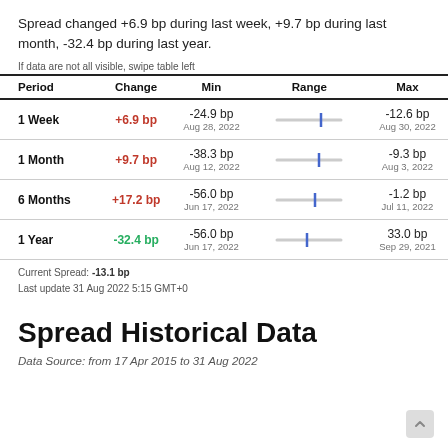Spread changed +6.9 bp during last week, +9.7 bp during last month, -32.4 bp during last year.
If data are not all visible, swipe table left
| Period | Change | Min | Range | Max |
| --- | --- | --- | --- | --- |
| 1 Week | +6.9 bp | -24.9 bp
Aug 28, 2022 |  | -12.6 bp
Aug 30, 2022 |
| 1 Month | +9.7 bp | -38.3 bp
Aug 12, 2022 |  | -9.3 bp
Aug 3, 2022 |
| 6 Months | +17.2 bp | -56.0 bp
Jun 17, 2022 |  | -1.2 bp
Jul 11, 2022 |
| 1 Year | -32.4 bp | -56.0 bp
Jun 17, 2022 |  | 33.0 bp
Sep 29, 2021 |
Current Spread: -13.1 bp
Last update 31 Aug 2022 5:15 GMT+0
Spread Historical Data
Data Source: from 17 Apr 2015 to 31 Aug 2022